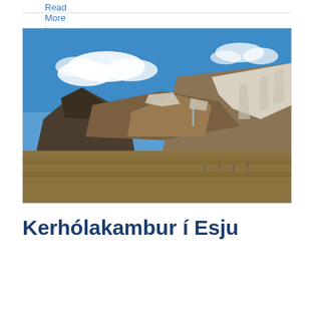Read More ›
[Figure (photo): Icelandic mountain landscape with snow-capped peaks, brown rocky slopes, blue sky with white clouds, and a flat brown plain in the foreground.]
Kerhólakambur í Esju